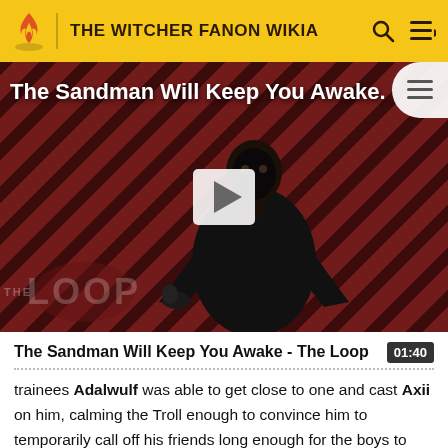THE WITCHER FANON WIKIA
[Figure (screenshot): Video thumbnail showing a dark-robed figure against a red diagonal striped background with 'THE LOOP' watermark and a play button overlay. Title text reads 'The Sandman Will Keep You Awake.']
The Sandman Will Keep You Awake - The Loop
trainees Adalwulf was able to get close to one and cast Axii on him, calming the Troll enough to convince him to temporarily call off his friends long enough for the boys to